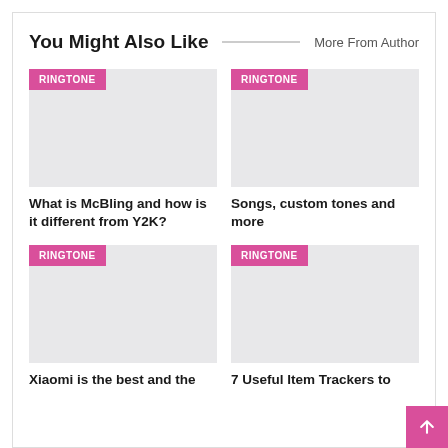You Might Also Like
More From Author
[Figure (other): Article thumbnail image placeholder with RINGTONE badge]
What is McBling and how is it different from Y2K?
[Figure (other): Article thumbnail image placeholder with RINGTONE badge]
Songs, custom tones and more
[Figure (other): Article thumbnail image placeholder with RINGTONE badge]
Xiaomi is the best and the
[Figure (other): Article thumbnail image placeholder with RINGTONE badge]
7 Useful Item Trackers to